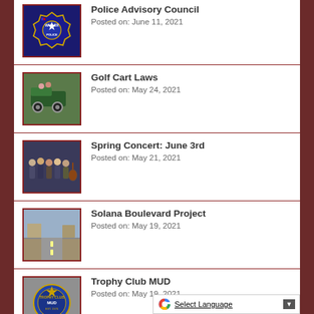Police Advisory Council
Posted on: June 11, 2021
Golf Cart Laws
Posted on: May 24, 2021
Spring Concert: June 3rd
Posted on: May 21, 2021
Solana Boulevard Project
Posted on: May 19, 2021
Trophy Club MUD
Posted on: May 19, 2021
Ottinger Road Cons...
Posted on: May 18, 2021